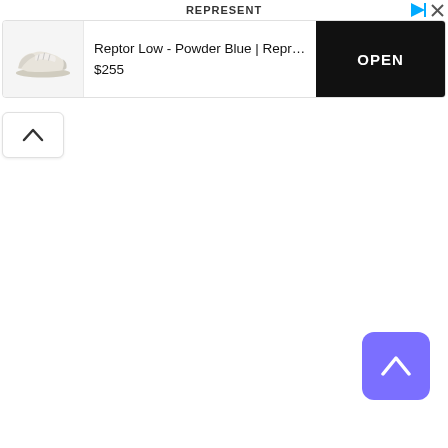REPRESENT
[Figure (screenshot): Advertisement card showing a sneaker (Reptor Low - Powder Blue by Represent Clo) with price $255 and an OPEN button]
[Figure (other): Collapse/chevron-up button below the ad card]
[Figure (other): Purple scroll-to-top button with chevron-up icon in the bottom-right corner]